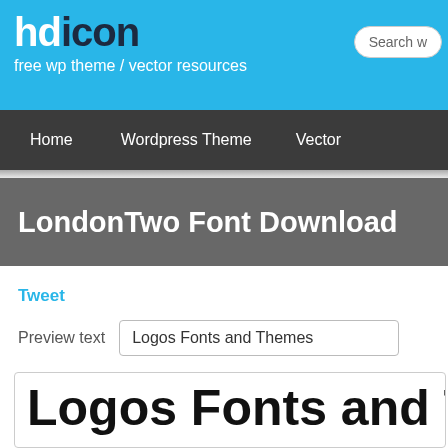hdicon – free wp theme / vector resources
Home | Wordpress Theme | Vector
LondonTwo Font Download
Tweet
Preview text: Logos Fonts and Themes
Logos Fonts and Theme